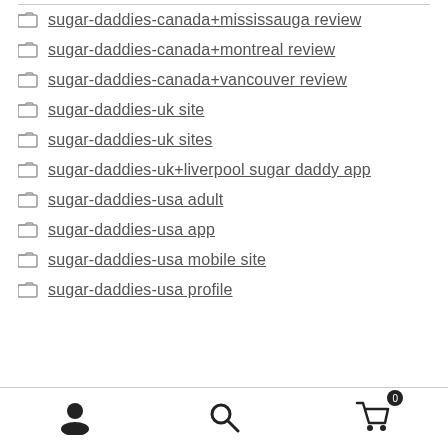sugar-daddies-canada+mississauga review
sugar-daddies-canada+montreal review
sugar-daddies-canada+vancouver review
sugar-daddies-uk site
sugar-daddies-uk sites
sugar-daddies-uk+liverpool sugar daddy app
sugar-daddies-usa adult
sugar-daddies-usa app
sugar-daddies-usa mobile site
sugar-daddies-usa profile
user icon, search icon, cart icon with badge 0